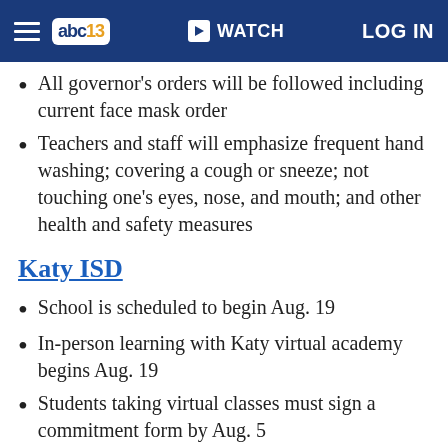abc13 | WATCH | LOG IN
All governor's orders will be followed including current face mask order
Teachers and staff will emphasize frequent hand washing; covering a cough or sneeze; not touching one's eyes, nose, and mouth; and other health and safety measures
Katy ISD
School is scheduled to begin Aug. 19
In-person learning with Katy virtual academy begins Aug. 19
Students taking virtual classes must sign a commitment form by Aug. 5
Students 4th - 12th grade are required to wear